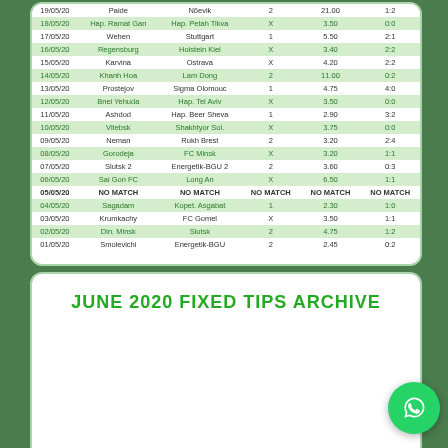| Date | Home | Away | Tip | Odds | Result |
| --- | --- | --- | --- | --- | --- |
| 19/05/20 | Paide | Nõevik | 2 | 21.00 | 1:2 |
| 18/05/20 | Hap. Ramat Gan | Hap. Petah Tikva | X | 3.50 | 0:0 |
| 17/05/20 | Wehen | Stuttgart | 1 | 5.50 | 2:1 |
| 16/05/20 | Regensburg | Holstein Kiel | X | 3.40 | 2:2 |
| 15/05/20 | Karvina | Ostrava | X | 4.20 | 2:2 |
| 14/05/20 | Khanh Hoa | Lam Dong | 2 | 11.00 | 0:2 |
| 13/05/20 | Prostejov | Sigma Olomouc | 1 | 4.75 | 4:0 |
| 12/05/20 | Bnei Yehuda | Hap. Tel Aviv | X | 3.50 | 0:0 |
| 11/05/20 | Ashdod | Hap. Beer Sheva | 1 | 2.90 | 3:2 |
| 10/05/20 | Vitebsk | Shakhtyor Sol. | X | 3.75 | 0:0 |
| 09/05/20 | Neman | Rukh Brest | 2 | 3.20 | 2:4 |
| 08/05/20 | Gorodeja | FC Minsk | X | 3.20 | 1:1 |
| 07/05/20 | Slutsk 2 | Energetik-BGU 2 | 2 | 3.60 | 0:3 |
| 06/05/20 | Sai Gon FC | Long An | X | 6.50 | 1:1 |
| 05/05/20 | NO MATCH | NO MATCH | NO MATCH | NO MATCH | NO MATCH |
| 04/05/20 | Sagadam | Kopet. Asgabat | 1 | 2.30 | 1:0 |
| 03/05/20 | Krumkachy | FC Gomel | X | 3.50 | 1:1 |
| 02/05/20 | Din. Minsk | Slutsk | 2 | 4.75 | 1:2 |
| 01/05/20 | Smolevichi | Energetik-BGU | 2 | 2.45 | 0:2 |
JUNE 2020 FIXED TIPS ARCHIVE